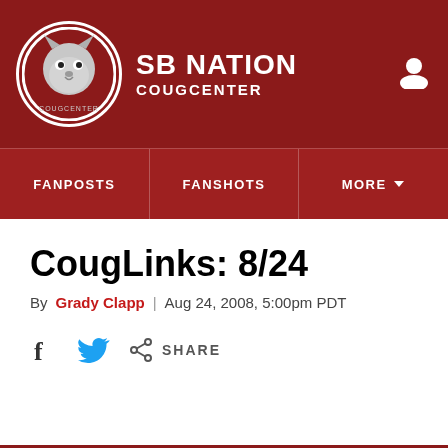[Figure (logo): SB Nation CougCenter logo with circular mascot icon and site name]
FANPOSTS | FANSHOTS | MORE
CougLinks: 8/24
By Grady Clapp | Aug 24, 2008, 5:00pm PDT
SHARE